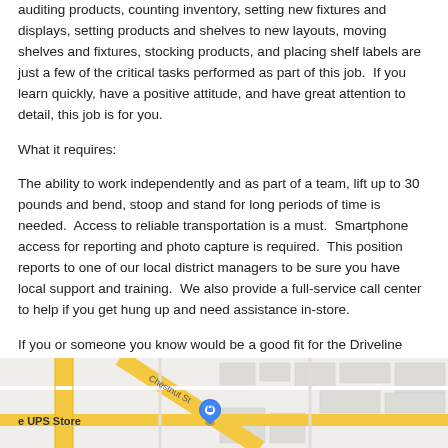auditing products, counting inventory, setting new fixtures and displays, setting products and shelves to new layouts, moving shelves and fixtures, stocking products, and placing shelf labels are just a few of the critical tasks performed as part of this job.  If you learn quickly, have a positive attitude, and have great attention to detail, this job is for you.
What it requires:
The ability to work independently and as part of a team, lift up to 30 pounds and bend, stoop and stand for long periods of time is needed.  Access to reliable transportation is a must.  Smartphone access for reporting and photo capture is required.  This position reports to one of our local district managers to be sure you have local support and training.  We also provide a full-service call center to help if you get hung up and need assistance in-store.
If you or someone you know would be a good fit for the Driveline family, apply now!
[Figure (map): Google Maps screenshot showing a street map area with roads, including Chestnut St, with a UPS Store location marker (blue pin) visible on the left side.]